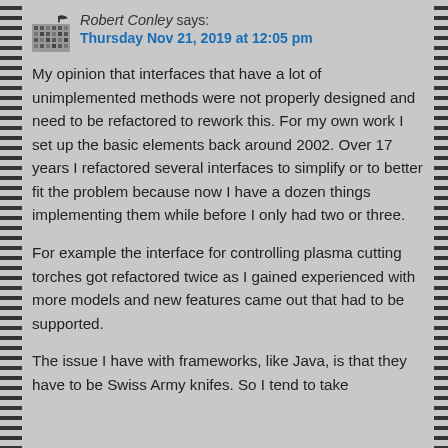Robert Conley says: Thursday Nov 21, 2019 at 12:05 pm
My opinion that interfaces that have a lot of unimplemented methods were not properly designed and need to be refactored to rework this. For my own work I set up the basic elements back around 2002. Over 17 years I refactored several interfaces to simplify or to better fit the problem because now I have a dozen things implementing them while before I only had two or three.
For example the interface for controlling plasma cutting torches got refactored twice as I gained experienced with more models and new features came out that had to be supported.
The issue I have with frameworks, like Java, is that they have to be Swiss Army knifes. So I tend to take